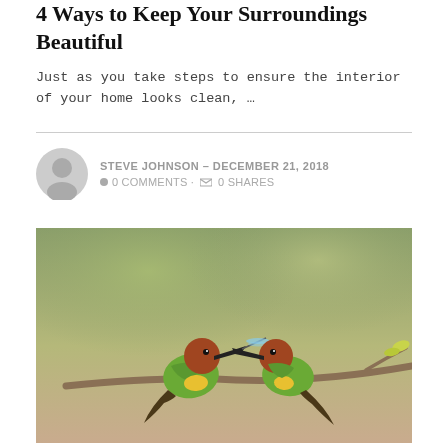4 Ways to Keep Your Surroundings Beautiful
Just as you take steps to ensure the interior of your home looks clean, …
STEVE JOHNSON – DECEMBER 21, 2018 • 0 COMMENTS · 0 SHARES
[Figure (photo): Two chestnut-headed bee-eater birds perched on a branch, one holding a dragonfly in its beak]